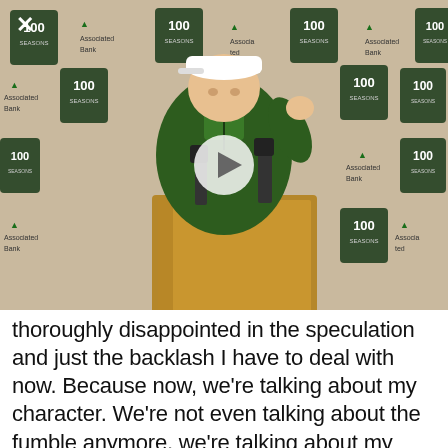[Figure (screenshot): Video screenshot of a football coach in a green jacket and white cap standing at a wooden podium during a press conference. Sponsor backdrop with 'Associated Bank' and '100 Seasons' logos repeated in a grid pattern. A play button icon is overlaid in the center. A close (X) button appears in the upper left corner.]
thoroughly disappointed in the speculation and just the backlash I have to deal with now. Because now, we're talking about my character. We're not even talking about the fumble anymore, we're talking about my character. We're talking about the